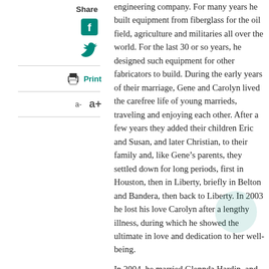Share
Print
a- a+
engineering company. For many years he built equipment from fiberglass for the oil field, agriculture and militaries all over the world. For the last 30 or so years, he designed such equipment for other fabricators to build. During the early years of their marriage, Gene and Carolyn lived the carefree life of young marrieds, traveling and enjoying each other. After a few years they added their children Eric and Susan, and later Christian, to their family and, like Gene’s parents, they settled down for long periods, first in Houston, then in Liberty, briefly in Belton and Bandera, then back to Liberty. In 2003 he lost his love Carolyn after a lengthy illness, during which he showed the ultimate in love and dedication to her well-being. In 2004, he married Glennda Hardin, and life’s adventures began again. They traveled some, were very involved in St. Stephen’s Episcopal Church and enjoyed family and friends. Glennda became ordained deacon in the Church, and Gene supported her in everything she did both inside the walls and outside. In 2019, they moved to Temple, where they remained until his passing. While he never wished to take the place of her children’s father, still he accepted them as the people they are, and opened his big heart to them without holding back.